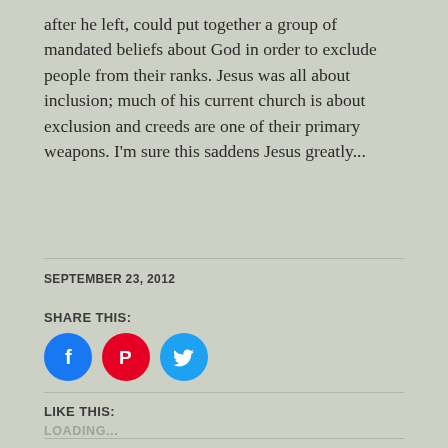after he left, could put together a group of mandated beliefs about God in order to exclude people from their ranks. Jesus was all about inclusion; much of his current church is about exclusion and creeds are one of their primary weapons. I'm sure this saddens Jesus greatly...
SEPTEMBER 23, 2012
SHARE THIS:
[Figure (infographic): Three social media share buttons: Facebook (blue circle with 'f' icon), Pinterest (red circle with 'P' icon), Twitter (cyan circle with bird icon)]
LIKE THIS:
LOADING...